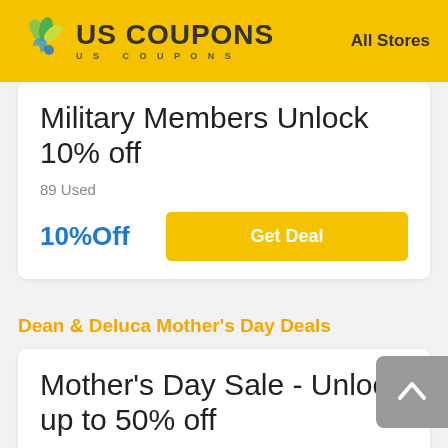US COUPONS   All Stores
Military Members Unlock 10% off
89 Used
10%Off   Get Deal
Dean & Deluca Mother's Day Deals
Mother's Day Sale - Unlock up to 50% off
19 Used
50%Off   Get Deal